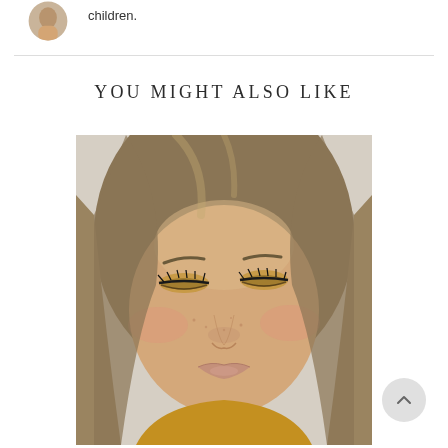children.
YOU MIGHT ALSO LIKE
[Figure (photo): Close-up portrait of a young woman with long blonde/brown hair, wearing gold/bronze eye makeup with dark liner and lashes, natural pink lips, looking downward. She is wearing what appears to be a mustard/golden yellow top.]